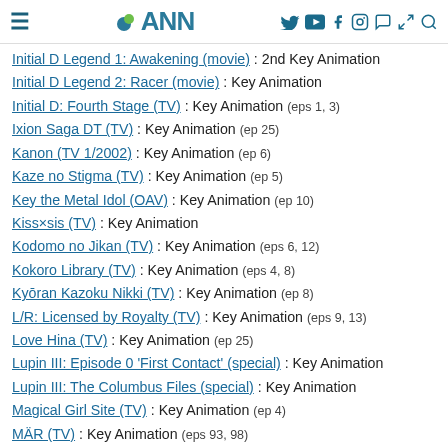ANN
Initial D Legend 1: Awakening (movie) : 2nd Key Animation
Initial D Legend 2: Racer (movie) : Key Animation
Initial D: Fourth Stage (TV) : Key Animation (eps 1, 3)
Ixion Saga DT (TV) : Key Animation (ep 25)
Kanon (TV 1/2002) : Key Animation (ep 6)
Kaze no Stigma (TV) : Key Animation (ep 5)
Key the Metal Idol (OAV) : Key Animation (ep 10)
Kiss×sis (TV) : Key Animation
Kodomo no Jikan (TV) : Key Animation (eps 6, 12)
Kokoro Library (TV) : Key Animation (eps 4, 8)
Kyōran Kazoku Nikki (TV) : Key Animation (ep 8)
L/R: Licensed by Royalty (TV) : Key Animation (eps 9, 13)
Love Hina (TV) : Key Animation (ep 25)
Lupin III: Episode 0 'First Contact' (special) : Key Animation
Lupin III: The Columbus Files (special) : Key Animation
Magical Girl Site (TV) : Key Animation (ep 4)
MÄR (TV) : Key Animation (eps 93, 98)
Mayo Chiki! (TV) : 2nd Key Animation (eps 7-8, 12-13), Key Animation (ep 5)
Mobile Suit Gundam AGE (TV) : Key Animation (ep 46)
Mobile Suit Gundam Seed Destiny (TV) : Key Animation (5 episodes)